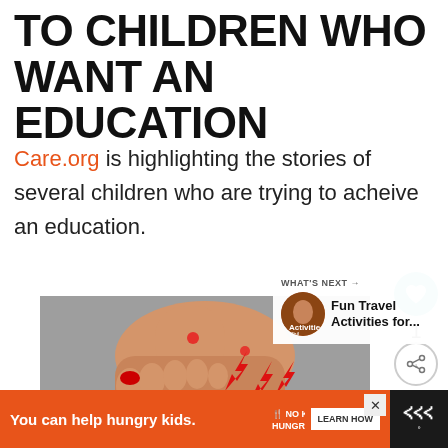TO CHILDREN WHO WANT AN EDUCATION
Care.org is highlighting the stories of several children who are trying to acheive an education.
[Figure (photo): Close-up photo of a child's foot/ankle on a grey surface, with illustrated red lightning bolt overlays indicating pain points]
WHAT'S NEXT → Fun Travel Activities for...
You can help hungry kids. NO KID HUNGRY LEARN HOW